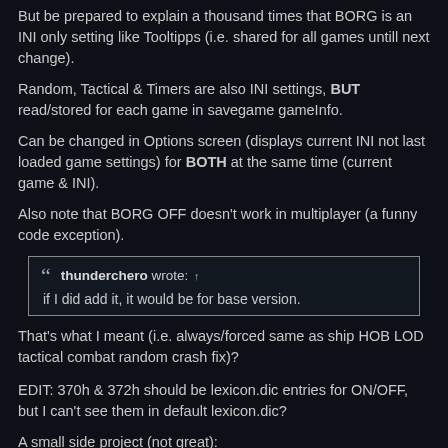But be prepared to explain a thousand times that BORG is an INI only setting like Tooltipps (i.e. shared for all games untill next change).
Random, Tactical & Timers are also INI settings, BUT read/stored for each game in savegame gameInfo.
Can be changed in Options screen (displays current INI not last loaded game settings) for BOTH at the same time (current game & INI).
Also note that BORG OFF doesn't work in multiplayer (a funny code exception).
thunderchero wrote: ↑
if I did add it, it would be for base version.
That's what I meant (i.e. always/forced same as ship HOB LOD tactical combat random crash fix)?
EDIT: 370h & 372h should be lexicon.dic entries for ON/OFF, but I can't see them in default lexicon.dic?
A small side project (not great):
CODE: SELECT ALL